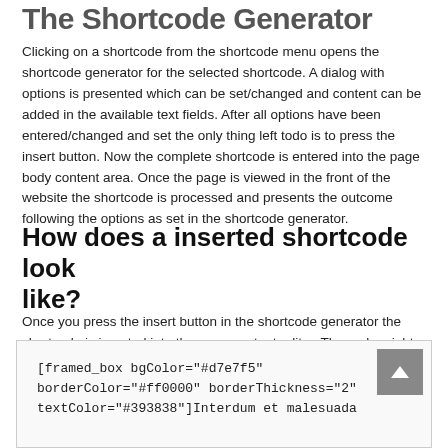The Shortcode Generator
Clicking on a shortcode from the shortcode menu opens the shortcode generator for the selected shortcode. A dialog with options is presented which can be set/changed and content can be added in the available text fields. After all options have been entered/changed and set the only thing left todo is to press the insert button. Now the complete shortcode is entered into the page body content area. Once the page is viewed in the front of the website the shortcode is processed and presents the outcome following the options as set in the shortcode generator.
How does a inserted shortcode look like?
Once you press the insert button in the shortcode generator the shortcode is inserted into the page content editor. The code might look like this (if you are inserting a framed box).
[framed_box bgColor="#d7e7f5" borderColor="#ff0000" borderThickness="2" textColor="#393838"]Interdum et malesuada